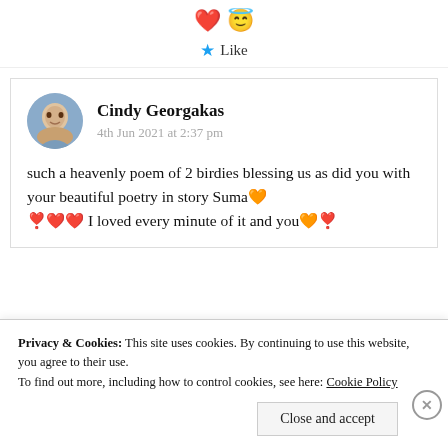[Figure (illustration): Red heart and halo angel face emoji icons]
Like
Cindy Georgakas
4th Jun 2021 at 2:37 pm
such a heavenly poem of 2 birdies blessing us as did you with your beautiful poetry in story Suma🧡❣️❤️❤️ I loved every minute of it and you🧡❣️
Privacy & Cookies: This site uses cookies. By continuing to use this website, you agree to their use.
To find out more, including how to control cookies, see here: Cookie Policy
Close and accept